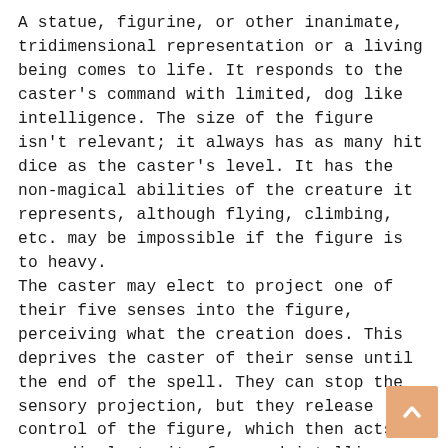A statue, figurine, or other inanimate, tridimensional representation or a living being comes to life. It responds to the caster's command with limited, dog like intelligence. The size of the figure isn't relevant; it always has as many hit dice as the caster's level. It has the non-magical abilities of the creature it represents, although flying, climbing, etc. may be impossible if the figure is to heavy.
The caster may elect to project one of their five senses into the figure, perceiving what the creation does. This deprives the caster of their sense until the end of the spell. They can stop the sensory projection, but they release control of the figure, which then acts accordingly to its form and intelligence.
If ordered to fight, every round of combat removes one hour from the spell's total duration.